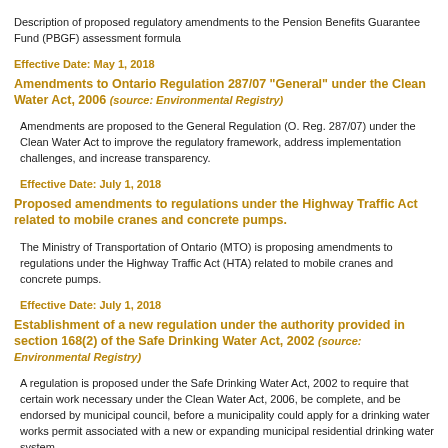Description of proposed regulatory amendments to the Pension Benefits Guarantee Fund (PBGF) assessment formula
Effective Date:  May 1, 2018
Amendments to Ontario Regulation 287/07 "General" under the Clean Water Act, 2006  (source: Environmental Registry)
Amendments are proposed to the General Regulation (O. Reg. 287/07) under the Clean Water Act to improve the regulatory framework, address implementation challenges, and increase transparency.
Effective Date:  July 1, 2018
Proposed amendments to regulations under the Highway Traffic Act related to mobile cranes and concrete pumps.
The Ministry of Transportation of Ontario (MTO) is proposing amendments to regulations under the Highway Traffic Act (HTA) related to mobile cranes and concrete pumps.
Effective Date:  July 1, 2018
Establishment of a new regulation under the authority provided in section 168(2) of the Safe Drinking Water Act, 2002  (source: Environmental Registry)
A regulation is proposed under the Safe Drinking Water Act, 2002 to require that certain work necessary under the Clean Water Act, 2006, be complete, and be endorsed by municipal council, before a municipality could apply for a drinking water works permit associated with a new or expanding municipal residential drinking water system
Effective Date:  July 1, 2018
The Local Services Board of Round Lake and Area Boundary Alteration.